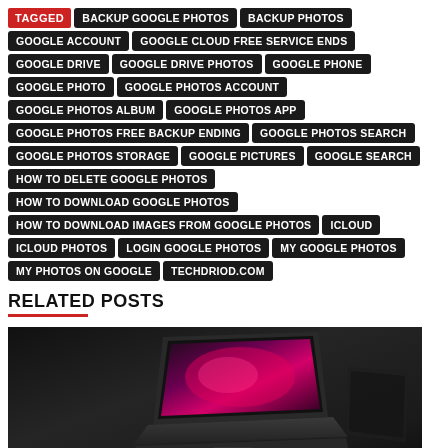TAGGED | BACKUP GOOGLE PHOTOS | BACKUP PHOTOS | GOOGLE ACCOUNT | GOOGLE CLOUD FREE SERVICE ENDS | GOOGLE DRIVE | GOOGLE DRIVE PHOTOS | GOOGLE PHONE | GOOGLE PHOTO | GOOGLE PHOTOS ACCOUNT | GOOGLE PHOTOS ALBUM | GOOGLE PHOTOS APP | GOOGLE PHOTOS FREE BACKUP ENDING | GOOGLE PHOTOS SEARCH | GOOGLE PHOTOS STORAGE | GOOGLE PICTURES | GOOGLE SEARCH | HOW TO DELETE GOOGLE PHOTOS | HOW TO DOWNLOAD GOOGLE PHOTOS | HOW TO DOWNLOAD IMAGES FROM GOOGLE PHOTOS | ICLOUD | ICLOUD PHOTOS | LOGIN GOOGLE PHOTOS | MY GOOGLE PHOTOS | MY PHOTOS ON GOOGLE | TECHDRIOD.COM
RELATED POSTS
[Figure (photo): A laptop with a glowing pink/red screen graphic open on a dark desk surface, photographed from above at an angle]